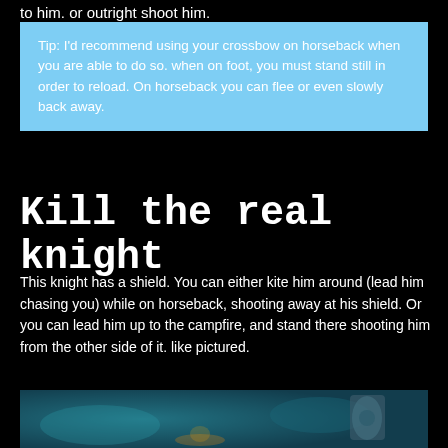to him. or outright shoot him.
Tip: I'd recommend using your crossbow on horseback when you are able to do so. when on foot, you must stand still in order to reload. On horseback you can flee or even slowly back away.
Kill the real knight
This knight has a shield. You can either kite him around (lead him chasing you) while on horseback, shooting away at his shield. Or you can lead him up to the campfire, and stand there shooting him from the other side of it. like pictured.
[Figure (screenshot): Screenshot from a game showing a dark teal/blue environment with what appears to be a knight and campfire scene]